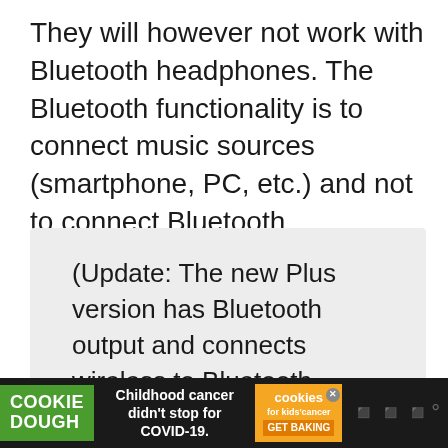They will however not work with Bluetooth headphones. The Bluetooth functionality is to connect music sources (smartphone, PC, etc.) and not to connect Bluetooth headphones or speakers. So only wired headphones will work.
(Update: The new Plus version has Bluetooth output and connects wireless to Bluetooth headphones.)
When testing with headphones, I
[Figure (other): Advertisement banner at bottom of page showing Cookie Dough brand (green), text 'Childhood cancer didn't stop for COVID-19.', Cookies for Kids' Cancer logo (orange) with 'GET BAKING' button, and speaker/audio icon]